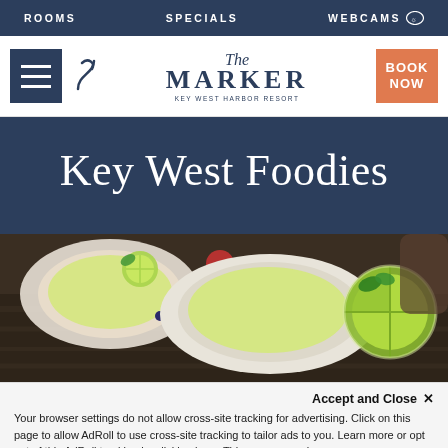ROOMS   SPECIALS   WEBCAMS
[Figure (logo): The Marker Key West Harbor Resort logo with hamburger menu, phone icon, and Book Now button]
Key West Foodies
[Figure (photo): Close-up photo of key lime pie desserts in white bowls with lime slices and mint garnish, with strawberries and blueberries in background]
Accept and Close ✕
Your browser settings do not allow cross-site tracking for advertising. Click on this page to allow AdRoll to use cross-site tracking to tailor ads to you. Learn more or opt out of this AdRoll tracking by clicking here. This message only appears once.